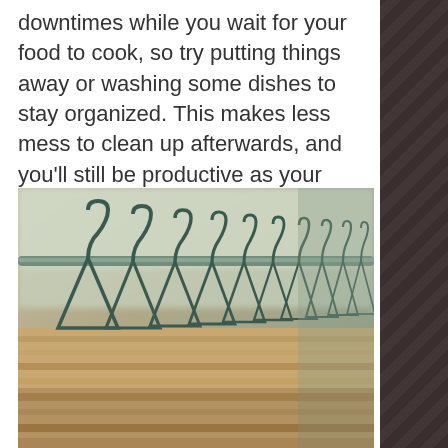downtimes while you wait for your food to cook, so try putting things away or washing some dishes to stay organized. This makes less mess to clean up afterwards, and you'll still be productive as your food cooks!
[Figure (photo): Close-up photo of a row of wooden clothes hangers on a metal hanging rail, viewed from a low angle. The hangers are wooden with dark metal hooks, lined up in perspective. The background is blurred and warm-toned.]